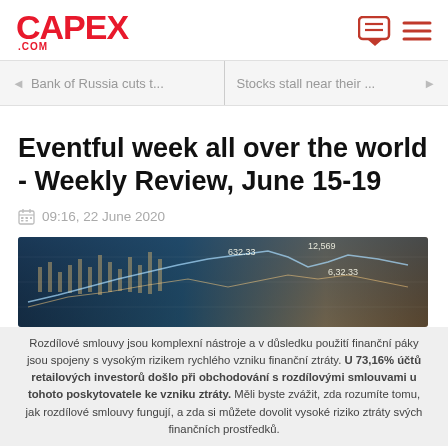CAPEX .COM
◄ Bank of Russia cuts t...   Stocks stall near their ... ►
Eventful week all over the world - Weekly Review, June 15-19
09:16, 22 June 2020
[Figure (photo): Financial chart with stock price lines overlaid on a blue and gold background, showing values 632.33, 12,569, and 632.33]
Rozdílové smlouvy jsou komplexní nástroje a v důsledku použití finanční páky jsou spojeny s vysokým rizikem rychlého vzniku finanční ztráty. U 73,16% účtů retailových investorů došlo při obchodování s rozdílovými smlouvami u tohoto poskytovatele ke vzniku ztráty. Měli byste zvážit, zda rozumíte tomu, jak rozdílové smlouvy fungují, a zda si můžete dovolit vysoké riziko ztráty svých finančních prostředků.